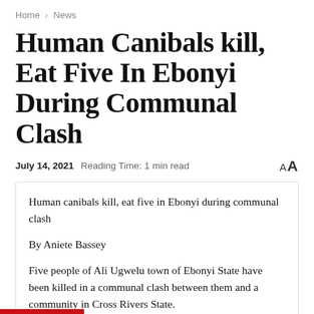Home > News
Human Canibals kill, Eat Five In Ebonyi During Communal Clash
July 14, 2021   Reading Time: 1 min read   AA
Human canibals kill, eat five in Ebonyi during communal clash
By Aniete Bassey
Five people of Ali Ugwelu town of Ebonyi State have been killed in a communal clash between them and a community in Cross Rivers State.
Reports said the victims' flesh were eaten by the